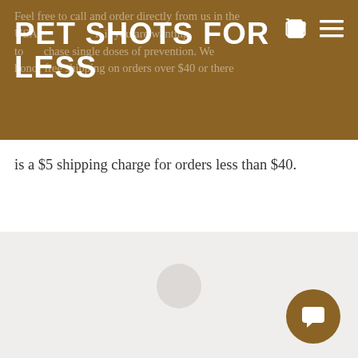PET SHOTS FOR LESS
Feel free to call and order directly from us in the USA, or if you are wanting to purchase single doses of prevention. We honor free shipping on orders over $40 or there is a $5 shipping charge for orders less than $40.
[Figure (other): Loading spinner circle and chat button widget at bottom right]